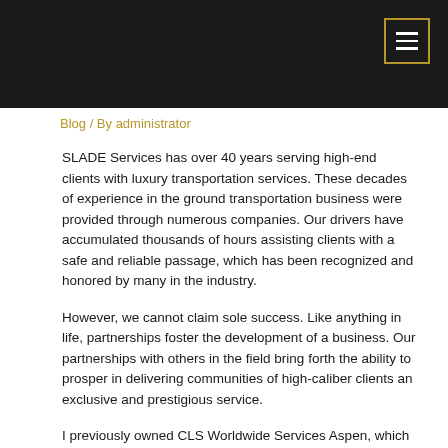Blog / By administrator
SLADE Services has over 40 years serving high-end clients with luxury transportation services. These decades of experience in the ground transportation business were provided through numerous companies. Our drivers have accumulated thousands of hours assisting clients with a safe and reliable passage, which has been recognized and honored by many in the industry.
However, we cannot claim sole success. Like anything in life, partnerships foster the development of a business. Our partnerships with others in the field bring forth the ability to prosper in delivering communities of high-caliber clients an exclusive and prestigious service.
I previously owned CLS Worldwide Services Aspen, which is now known as EmpireCLS. From my time serving the ground transportation industry...